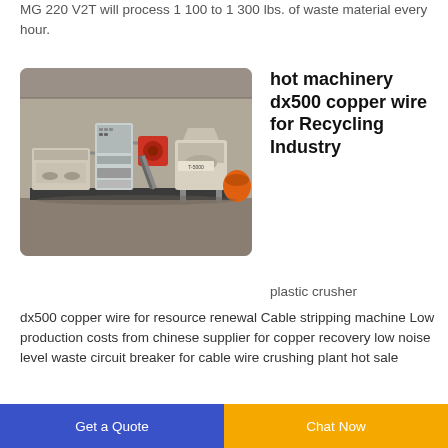MG 220 V2T will process 1 100 to 1 300 lbs. of waste material every hour.
[Figure (photo): Industrial machinery — copper wire recycling / cable stripping machine system with multiple components including shredder, control panel, and separator units on a platform, photographed in a warehouse/factory setting.]
hot machinery dx500 copper wire for Recycling Industry
plastic crusher
dx500 copper wire for resource renewal Cable stripping machine Low production costs from chinese supplier for copper recovery low noise level waste circuit breaker for cable wire crushing plant hot sale
Get a Quote  Chat Now